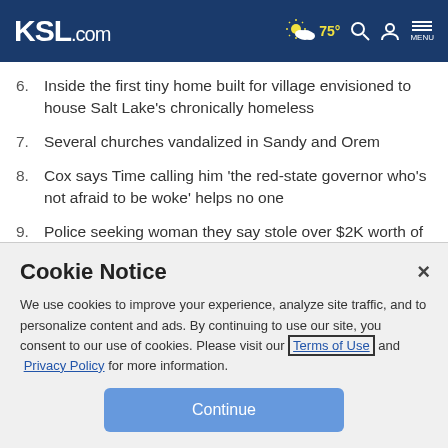KSL.com  75°  MENU
6. Inside the first tiny home built for village envisioned to house Salt Lake's chronically homeless
7. Several churches vandalized in Sandy and Orem
8. Cox says Time calling him 'the red-state governor who's not afraid to be woke' helps no one
9. Police seeking woman they say stole over $2K worth of
Cookie Notice
We use cookies to improve your experience, analyze site traffic, and to personalize content and ads. By continuing to use our site, you consent to our use of cookies. Please visit our Terms of Use and Privacy Policy for more information.